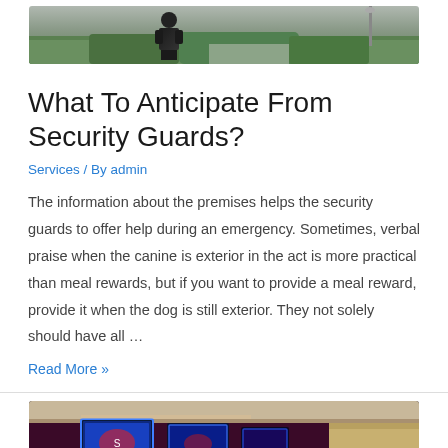[Figure (photo): Security guard in black uniform walking outdoors with green bushes and path in background]
What To Anticipate From Security Guards?
Services / By admin
The information about the premises helps the security guards to offer help during an emergency. Sometimes, verbal praise when the canine is exterior in the act is more practical than meal rewards, but if you want to provide a meal reward, provide it when the dog is still exterior. They not solely should have all …
Read More »
[Figure (photo): Illuminated digital display screens on a dark wall, showing glowing blue and colorful content, ceiling visible above]